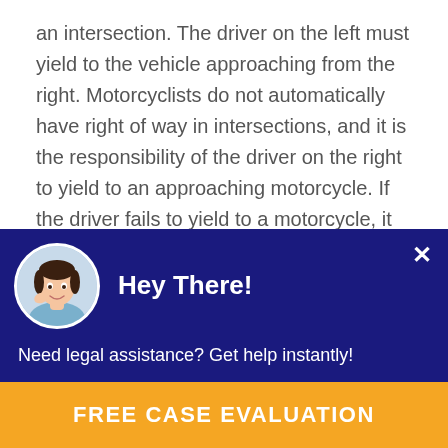an intersection. The driver on the left must yield to the vehicle approaching from the right. Motorcyclists do not automatically have right of way in intersections, and it is the responsibility of the driver on the right to yield to an approaching motorcycle. If the driver fails to yield to a motorcycle, it could result in serious physical injuries or even death. In such a case, a plaintiff can pursue compensation from the negligent motorist.

In some cases, motorists fail to notice a motorcycle and are unaware that it is present. In other cases, poor visibility or
[Figure (screenshot): Chat popup overlay with dark navy background. Shows a circular avatar photo of a smiling woman, bold white text 'Hey There!', a close X button, subtext 'Need legal assistance? Get help instantly!', and an orange button reading 'FREE CASE EVALUATION'.]